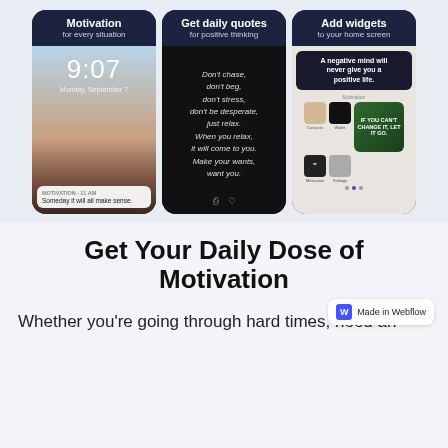[Figure (screenshot): Three smartphone screenshots showing a motivation app: 1) Lock screen with time 9:07 and notification 'Someday it will all make sense.' 2) Black screen with quote 'Don't chase, don't beg, don't stress, don't be desperate, just relax. When you relax, it will come to you. Make your wants, want you.' 3) Home screen with widgets including 'A negative mind will never give you a positive life.' and 'IF YOU CAN'T CHANGE IT, LET IT GO.' Each screenshot has a header label: 'Motivation for every situation', 'Get daily quotes for positive thinking', 'Add widgets to your home screen']
Get Your Daily Dose of Motivation
Whether you're going through hard times, need an